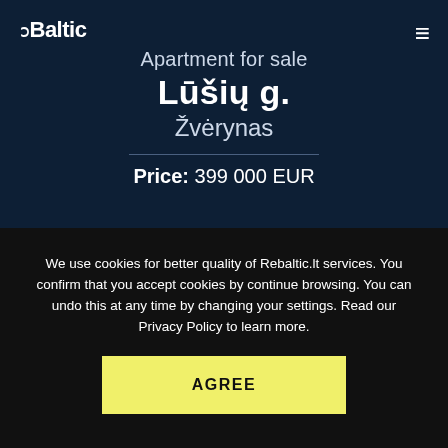reBaltic logo
Apartment for sale
Lūšių g.
Žvėrynas
Price: 399 000 EUR
We use cookies for better quality of Rebaltic.lt services. You confirm that you accept cookies by continue browsing. You can undo this at any time by changing your settings. Read our Privacy Policy to learn more.
AGREE